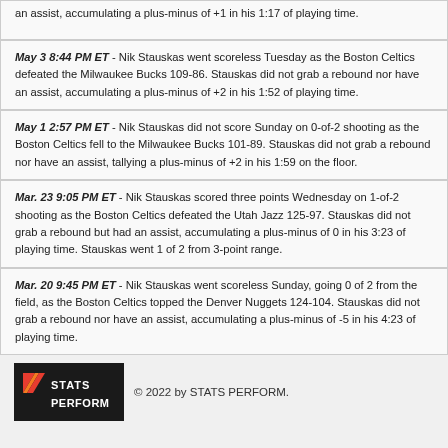an assist, accumulating a plus-minus of +1 in his 1:17 of playing time.
May 3 8:44 PM ET - Nik Stauskas went scoreless Tuesday as the Boston Celtics defeated the Milwaukee Bucks 109-86. Stauskas did not grab a rebound nor have an assist, accumulating a plus-minus of +2 in his 1:52 of playing time.
May 1 2:57 PM ET - Nik Stauskas did not score Sunday on 0-of-2 shooting as the Boston Celtics fell to the Milwaukee Bucks 101-89. Stauskas did not grab a rebound nor have an assist, tallying a plus-minus of +2 in his 1:59 on the floor.
Mar. 23 9:05 PM ET - Nik Stauskas scored three points Wednesday on 1-of-2 shooting as the Boston Celtics defeated the Utah Jazz 125-97. Stauskas did not grab a rebound but had an assist, accumulating a plus-minus of 0 in his 3:23 of playing time. Stauskas went 1 of 2 from 3-point range.
Mar. 20 9:45 PM ET - Nik Stauskas went scoreless Sunday, going 0 of 2 from the field, as the Boston Celtics topped the Denver Nuggets 124-104. Stauskas did not grab a rebound nor have an assist, accumulating a plus-minus of -5 in his 4:23 of playing time.
[Figure (logo): Stats Perform logo — black background with orange/red diagonal stripes and white text reading STATS PERFORM]
© 2022 by STATS PERFORM.